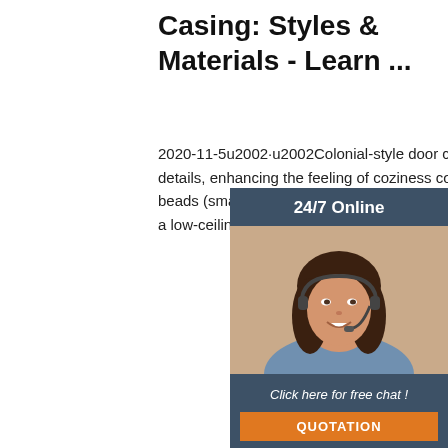Casing: Styles & Materials - Learn ...
2020-11-5u2002·u2002Colonial-style door casings combine timeless simplicity and rich details, enhancing the feeling of coziness comfort in your home. Often featuring elec simple beads (small indented lines) and ca (concave) shapes and curves in their desi they can make a low-ceiling room feel mo feminine and voluminous.
[Figure (photo): Customer service representative woman with headset, part of a 24/7 online chat widget with dark blue background, 'Click here for free chat!' text, and orange QUOTATION button]
Get Price